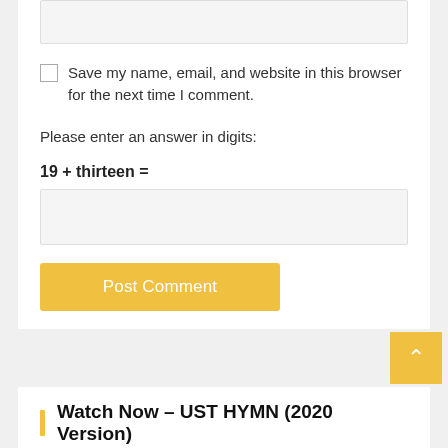[Figure (screenshot): Empty text input box at the top of the comment form]
Save my name, email, and website in this browser for the next time I comment.
Please enter an answer in digits:
19 + thirteen =
[Figure (screenshot): Empty answer input box for the math captcha]
[Figure (screenshot): Post Comment button (yellow/gold)]
[Figure (screenshot): Scroll-to-top arrow button (yellow/gold) in grey bar]
Watch Now – UST HYMN (2020 Version)
[Figure (screenshot): Video thumbnail with dark background and circular logo]